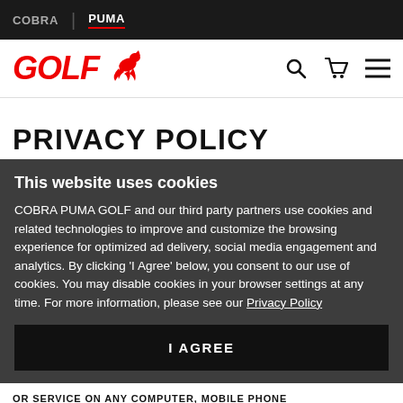COBRA | PUMA
[Figure (logo): GOLF PUMA logo in red with puma cat icon, plus search, cart, and hamburger menu icons]
PRIVACY POLICY
This website uses cookies
COBRA PUMA GOLF and our third party partners use cookies and related technologies to improve and customize the browsing experience for optimized ad delivery, social media engagement and analytics. By clicking 'I Agree' below, you consent to our use of cookies. You may disable cookies in your browser settings at any time. For more information, please see our Privacy Policy
I AGREE
OR SERVICE ON ANY COMPUTER, MOBILE PHONE